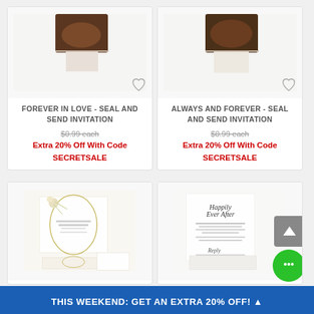[Figure (photo): Forever In Love - Seal and Send wedding invitation product image (top left card)]
FOREVER IN LOVE - SEAL AND SEND INVITATION
$0.99 each (strikethrough) Extra 20% Off With Code SECRETSALE
[Figure (photo): Always And Forever - Seal and Send wedding invitation product image (top right card)]
ALWAYS AND FOREVER - SEAL AND SEND INVITATION
$0.99 each (strikethrough) Extra 20% Off With Code SECRETSALE
[Figure (photo): Floral wreath oval seal and send wedding invitation product image (bottom left card)]
[Figure (photo): Happily Ever After script seal and send wedding invitation product image (bottom right card)]
THIS WEEKEND: GET AN EXTRA 20% OFF!